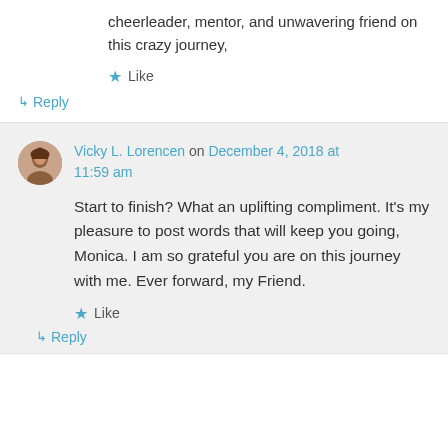cheerleader, mentor, and unwavering friend on this crazy journey,
★ Like
↳ Reply
Vicky L. Lorencen on December 4, 2018 at 11:59 am
Start to finish? What an uplifting compliment. It's my pleasure to post words that will keep you going, Monica. I am so grateful you are on this journey with me. Ever forward, my Friend.
★ Like